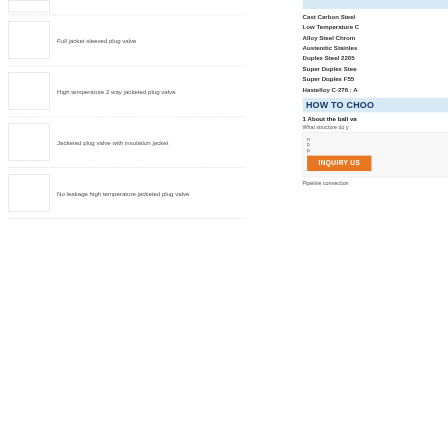[Figure (other): Small product image placeholder at top of left column]
Full jacket sleeved plug valve
[Figure (photo): Product image for full jacket sleeved plug valve]
High temperature 2 way jacketed plug valve
[Figure (photo): Product image for high temperature 2 way jacketed plug valve]
Jacketed plug valve with insulation jacket
[Figure (photo): Product image for jacketed plug valve with insulation jacket]
No leakage high temperature jacketed plug valve
[Figure (photo): Product image for no leakage high temperature jacketed plug valve]
Cast Carbon Steel
Low Temperature C
Alloy Steel Chrom
Austenitic Stainles
Duplex Steel 2205
Super Duplex Stee
Super Duplex F55
Hastelloy C-276 : A
HOW TO CHOO
1 About the ball va
What structure do y
INQUIRY US
Pipeline connection